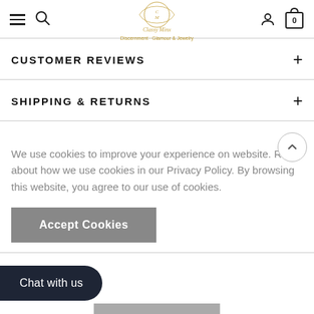Classy Minx - Navigation header with logo, hamburger menu, search, user account, and cart
CUSTOMER REVIEWS
SHIPPING & RETURNS
We use cookies to improve your experience on website. Read about how we use cookies in our Privacy Policy. By browsing this website, you agree to our use of cookies.
Accept Cookies
Chat with us
SOLD OUT